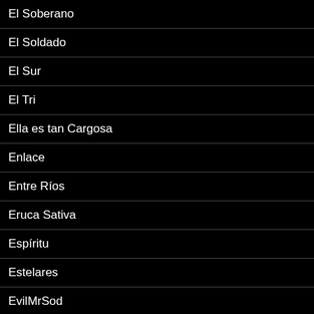El Soberano
El Soldado
El Sur
El Tri
Ella es tan Cargosa
Enlace
Entre Ríos
Eruca Sativa
Espíritu
Estelares
EvilMrSod
Facundo Miguel de Dios Dalmacio